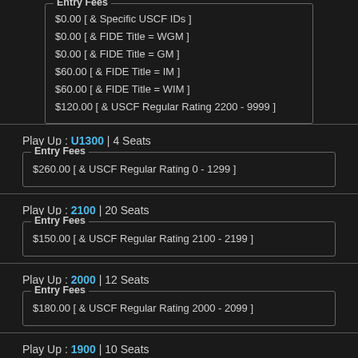$0.00 [ & Specific USCF IDs ]
$0.00 [ & FIDE Title = WGM ]
$0.00 [ & FIDE Title = GM ]
$60.00 [ & FIDE Title = IM ]
$60.00 [ & FIDE Title = WIM ]
$120.00 [ & USCF Regular Rating 2200 - 9999 ]
Play Up : U1300 | 4 Seats
$260.00 [ & USCF Regular Rating 0 - 1299 ]
Play Up : 2100 | 20 Seats
$150.00 [ & USCF Regular Rating 2100 - 2199 ]
Play Up : 2000 | 12 Seats
$180.00 [ & USCF Regular Rating 2000 - 2099 ]
Play Up : 1900 | 10 Seats